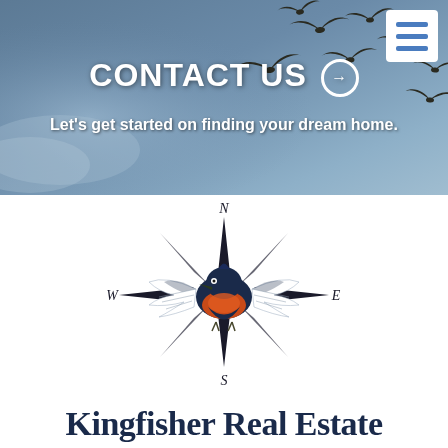CONTACT US →
Let's get started on finding your dream home.
[Figure (logo): Kingfisher Real Estate compass logo with a kingfisher bird overlaid on a compass rose showing N, S, E, W directions. Bird has blue, white, and orange coloring with wings spread.]
Kingfisher Real Estate